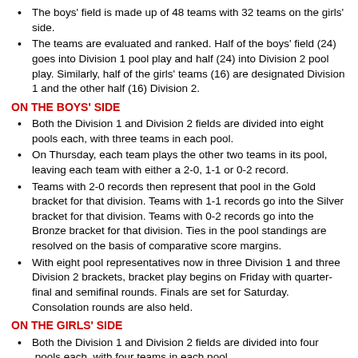The boys' field is made up of 48 teams with 32 teams on the girls' side.
The teams are evaluated and ranked. Half of the boys' field (24) goes into Division 1 pool play and half (24) into Division 2 pool play. Similarly, half of the girls' teams (16) are designated Division 1 and the other half (16) Division 2.
ON THE BOYS' SIDE
Both the Division 1 and Division 2 fields are divided into eight pools each, with three teams in each pool.
On Thursday, each team plays the other two teams in its pool, leaving each team with either a 2-0, 1-1 or 0-2 record.
Teams with 2-0 records then represent that pool in the Gold bracket for that division. Teams with 1-1 records go into the Silver bracket for that division. Teams with 0-2 records go into the Bronze bracket for that division. Ties in the pool standings are resolved on the basis of comparative score margins.
With eight pool representatives now in three Division 1 and three Division 2 brackets, bracket play begins on Friday with quarter-final and semifinal rounds. Finals are set for Saturday. Consolation rounds are also held.
ON THE GIRLS' SIDE
Both the Division 1 and Division 2 fields are divided into four  pools each, with four teams in each pool.
On Thursday and Friday, each team plays the other three teams in its pool, leaving each team with either a 3-0, 2-1, 1-2 or 0-3 record. Two pool games are played on Thursday and one on Saturday.
Teams with 3-0 records move into Gold bracket play within their division. Teams with 2-1 records play in Silver